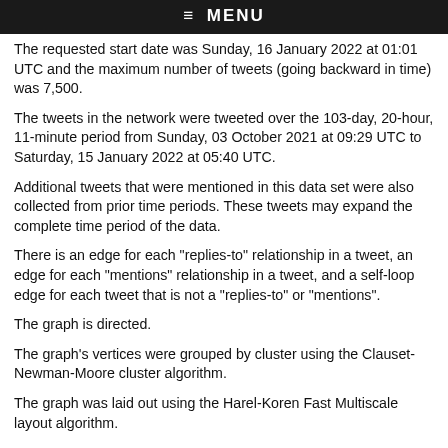≡ MENU
The requested start date was Sunday, 16 January 2022 at 01:01 UTC and the maximum number of tweets (going backward in time) was 7,500.
The tweets in the network were tweeted over the 103-day, 20-hour, 11-minute period from Sunday, 03 October 2021 at 09:29 UTC to Saturday, 15 January 2022 at 05:40 UTC.
Additional tweets that were mentioned in this data set were also collected from prior time periods. These tweets may expand the complete time period of the data.
There is an edge for each "replies-to" relationship in a tweet, an edge for each "mentions" relationship in a tweet, and a self-loop edge for each tweet that is not a "replies-to" or "mentions".
The graph is directed.
The graph's vertices were grouped by cluster using the Clauset-Newman-Moore cluster algorithm.
The graph was laid out using the Harel-Koren Fast Multiscale layout algorithm.